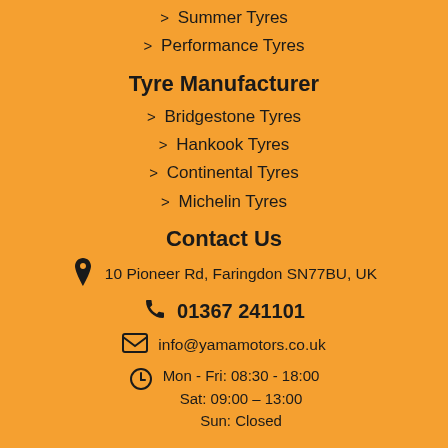> Summer Tyres
> Performance Tyres
Tyre Manufacturer
> Bridgestone Tyres
> Hankook Tyres
> Continental Tyres
> Michelin Tyres
Contact Us
10 Pioneer Rd, Faringdon SN77BU, UK
01367 241101
info@yamamotors.co.uk
Mon - Fri: 08:30 - 18:00
Sat: 09:00 – 13:00
Sun: Closed